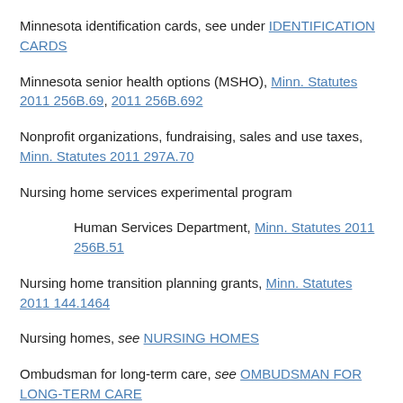Minnesota identification cards, see under IDENTIFICATION CARDS
Minnesota senior health options (MSHO), Minn. Statutes 2011 256B.69, 2011 256B.692
Nonprofit organizations, fundraising, sales and use taxes, Minn. Statutes 2011 297A.70
Nursing home services experimental program
Human Services Department, Minn. Statutes 2011 256B.51
Nursing home transition planning grants, Minn. Statutes 2011 144.1464
Nursing homes, see NURSING HOMES
Ombudsman for long-term care, see OMBUDSMAN FOR LONG-TERM CARE
On-site coordination (osc) services projects